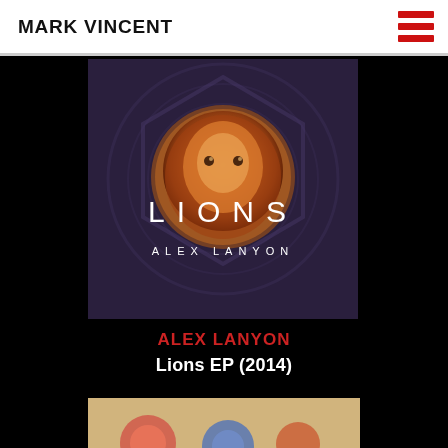MARK VINCENT
[Figure (illustration): Album cover art for 'Lions EP' by Alex Lanyon – dark purple/navy background with a circular lion medallion in warm gold/orange tones, overlaid text 'LIONS' in large white spaced letters and 'ALEX LANYON' below in smaller white spaced letters.]
ALEX LANYON
Lions EP (2014)
[Figure (photo): Partial view of another image at the bottom of the page, showing colorful figures (hats visible) cropped off at the bottom edge.]